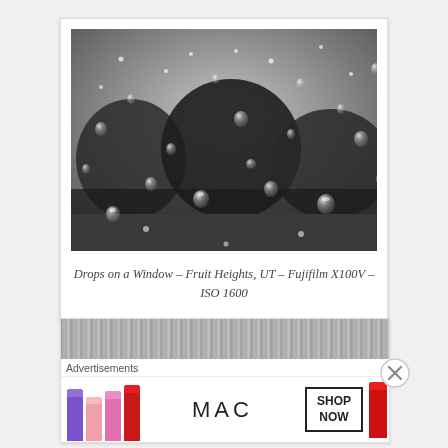[Figure (photo): Black and white close-up photograph of raindrops on a window glass, with blurred trees visible in the background]
Drops on a Window – Fruit Heights, UT – Fujifilm X100V – ISO 1600
[Figure (photo): Partial view of a grainy textured surface (asphalt or gravel), partially visible at top of second card]
Advertisements
[Figure (illustration): MAC cosmetics advertisement banner showing colorful lipsticks on the left, MAC logo in the center, and a SHOP NOW button on the right]